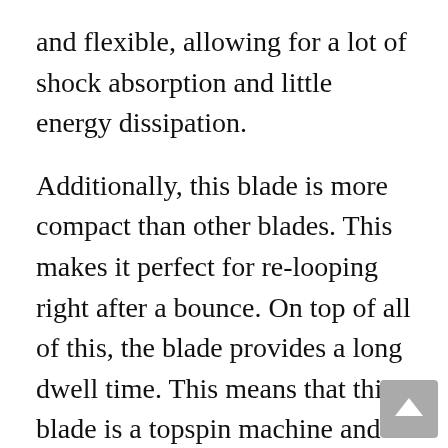and flexible, allowing for a lot of shock absorption and little energy dissipation.
Additionally, this blade is more compact than other blades. This makes it perfect for re-looping right after a bounce. On top of all of this, the blade provides a long dwell time. This means that this blade is a topspin machine and perfectly compliments Zhang Jike's particular playing style.
Moving onto his forehand rubber, Zhang Jike uses a DHS NEO Hurricane 3 National with a blue sponge. This particular rubber is not as tacky as other models of the Hurricane rubber but surprisingly has more grip. The song itself is